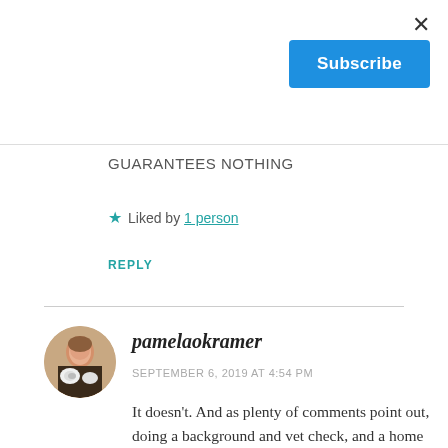×
Subscribe
GUARANTEES NOTHING
★ Liked by 1 person
REPLY
[Figure (photo): Circular avatar photo of commenter pamelaokramer, showing a person with a dog]
pamelaokramer
SEPTEMBER 6, 2019 AT 4:54 PM
It doesn't. And as plenty of comments point out, doing a background and vet check, and a home visit, go a long way